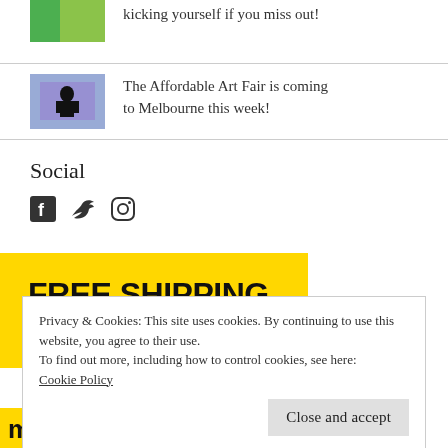kicking yourself if you miss out!
[Figure (photo): Small thumbnail image of person standing in front of colorful art]
The Affordable Art Fair is coming to Melbourne this week!
Social
[Figure (illustration): Social media icons: Facebook, Twitter, Instagram]
[Figure (infographic): Yellow banner with bold black text reading FREE SHIPPING AUSTRALIA WIDE]
Privacy & Cookies: This site uses cookies. By continuing to use this website, you agree to their use.
To find out more, including how to control cookies, see here:
Cookie Policy
Close and accept